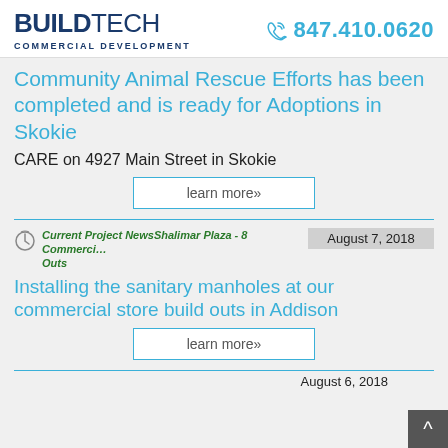BUILDTECH COMMERCIAL DEVELOPMENT | 847.410.0620
Community Animal Rescue Efforts has been completed and is ready for Adoptions in Skokie
CARE on 4927 Main Street in Skokie
learn more»
Current Project NewsShalimar Plaza - 8 Commercial Store Build Outs | August 7, 2018
Installing the sanitary manholes at our commercial store build outs in Addison
learn more»
August 6, 2018